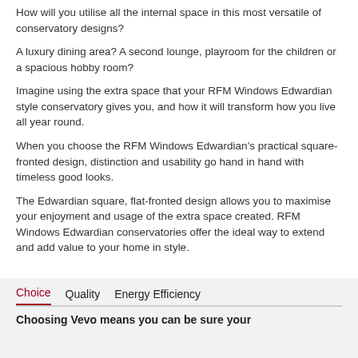How will you utilise all the internal space in this most versatile of conservatory designs?
A luxury dining area? A second lounge, playroom for the children or a spacious hobby room?
Imagine using the extra space that your RFM Windows Edwardian style conservatory gives you, and how it will transform how you live all year round.
When you choose the RFM Windows Edwardian's practical square-fronted design, distinction and usability go hand in hand with timeless good looks.
The Edwardian square, flat-fronted design allows you to maximise your enjoyment and usage of the extra space created. RFM Windows Edwardian conservatories offer the ideal way to extend and add value to your home in style.
Choice  Quality  Energy Efficiency
Choosing Vevo means you can be sure your